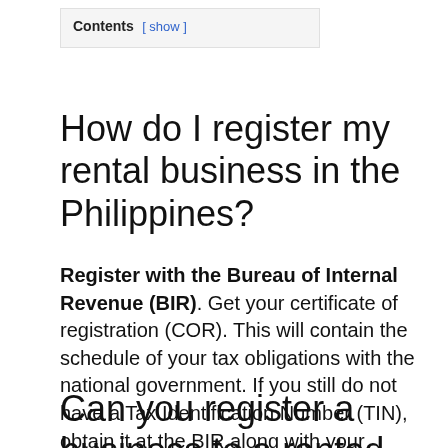Contents [ show ]
How do I register my rental business in the Philippines?
Register with the Bureau of Internal Revenue (BIR). Get your certificate of registration (COR). This will contain the schedule of your tax obligations with the national government. If you still do not have a Tax Identification Number (TIN), obtain it at the BIR along with your authority to print official receipts.
Can you register a business to a rented property?